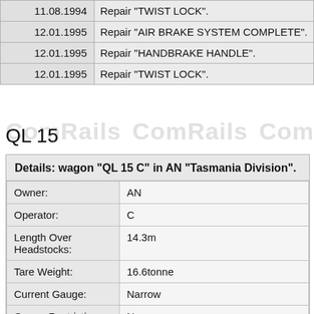| Date | Description |
| --- | --- |
| 11.08.1994 | Repair "TWIST LOCK". |
| 12.01.1995 | Repair "AIR BRAKE SYSTEM COMPLETE". |
| 12.01.1995 | Repair "HANDBRAKE HANDLE". |
| 12.01.1995 | Repair "TWIST LOCK". |
QL 15
| Field | Value |
| --- | --- |
| Details: wagon "QL 15 C" in AN "Tasmania Division". |  |
| Owner: | AN |
| Operator: | C |
| Length Over Headstocks: | 14.3m |
| Tare Weight: | 16.6tonne |
| Current Gauge: | Narrow |
| Gauge Restrictions: | N |